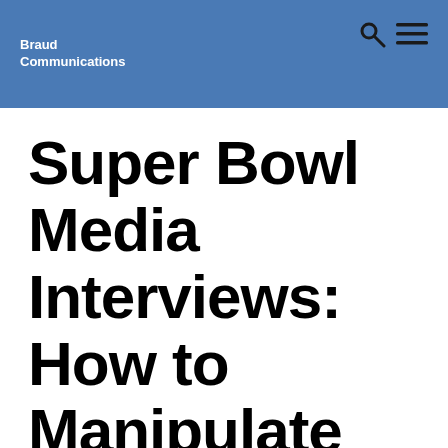Braud Communications
Super Bowl Media Interviews: How to Manipulate What a Reporter Writes